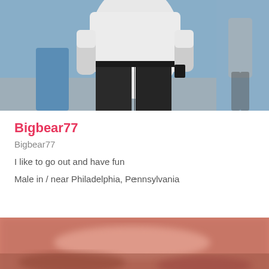[Figure (photo): Photo of a person wearing a white t-shirt and dark pants, taken outdoors, showing torso and lower body. Background is blue/grey pavement.]
Bigbear77
Bigbear77
I like to go out and have fun
Male in / near Philadelphia, Pennsylvania
[Figure (photo): Close-up blurry photo with pinkish/reddish tones, partially visible at bottom of page.]